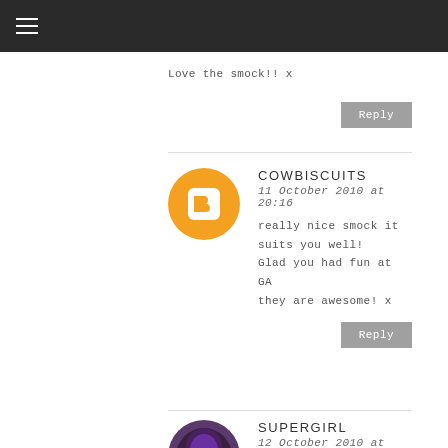Love the smock!! x
Reply
COWBISCUITS
11 October 2010 at 20:16
really nice smock it suits you well!
Glad you had fun at GA they are awesome! x
Reply
SUPERGIRL
12 October 2010 at 10:30